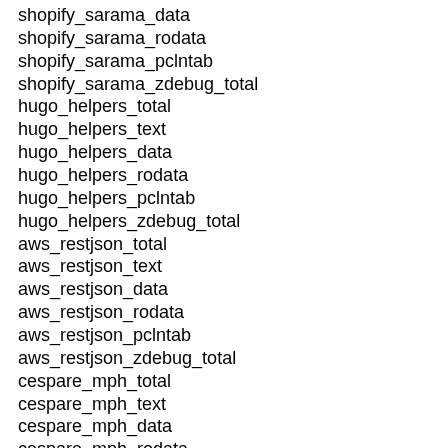shopify_sarama_data
shopify_sarama_rodata
shopify_sarama_pclntab
shopify_sarama_zdebug_total
hugo_helpers_total
hugo_helpers_text
hugo_helpers_data
hugo_helpers_rodata
hugo_helpers_pclntab
hugo_helpers_zdebug_total
aws_restjson_total
aws_restjson_text
aws_restjson_data
aws_restjson_rodata
aws_restjson_pclntab
aws_restjson_zdebug_total
cespare_mph_total
cespare_mph_text
cespare_mph_data
cespare_mph_rodata
cespare_mph_pclntab
cespare_mph_zdebug_total
nelsam_gxui_interval_total